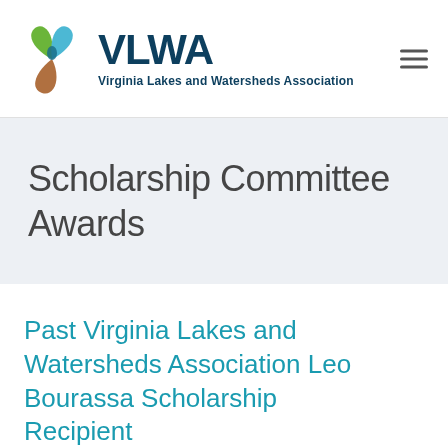VLWA Virginia Lakes and Watersheds Association
Scholarship Committee Awards
Past Virginia Lakes and Watersheds Association Leo Bourassa Scholarship Recipient